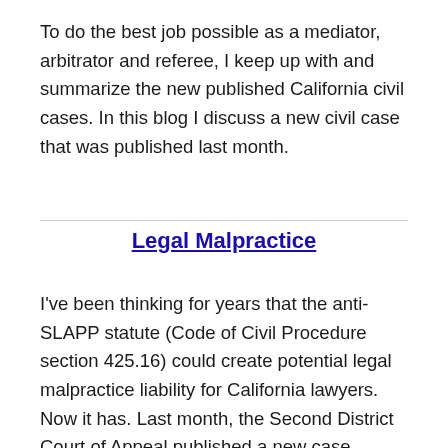To do the best job possible as a mediator, arbitrator and referee, I keep up with and summarize the new published California civil cases. In this blog I discuss a new civil case that was published last month.
Legal Malpractice
I've been thinking for years that the anti-SLAPP statute (Code of Civil Procedure section 425.16) could create potential legal malpractice liability for California lawyers. Now it has. Last month, the Second District Court of Appeal published a new case addressing whether attorneys and law firms can be liable for not discussing with clients the